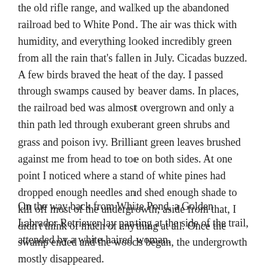the old rifle range, and walked up the abandoned railroad bed to White Pond. The air was thick with humidity, and everything looked incredibly green from all the rain that's fallen in July. Cicadas buzzed. A few birds braved the heat of the day. I passed through swamps caused by beaver dams. In places, the railroad bed was almost overgrown and only a thin path led through exuberant green shrubs and grass and poison ivy. Brilliant green leaves brushed against me from head to toe on both sides. At one point I noticed where a stand of white pines had dropped enough needles and shed enough shade to kill off most of the undergrowth; aside from that, I didn't think of much of anything at all. Once the swamp ended and the woods began, the undergrowth mostly disappeared.
On the way back from White Pond, a Golden Labrador Retriever lay panting at the side of the trail, attended by a white-haired woman.